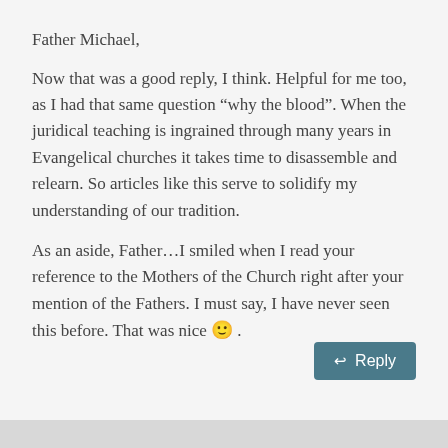Father Michael,
Now that was a good reply, I think. Helpful for me too, as I had that same question “why the blood”. When the juridical teaching is ingrained through many years in Evangelical churches it takes time to disassemble and relearn. So articles like this serve to solidify my understanding of our tradition.
As an aside, Father…I smiled when I read your reference to the Mothers of the Church right after your mention of the Fathers. I must say, I have never seen this before. That was nice 🙂 .